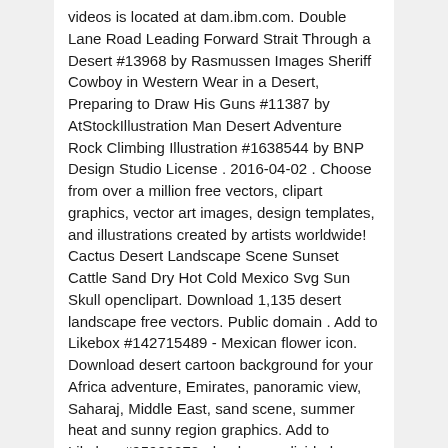videos is located at dam.ibm.com. Double Lane Road Leading Forward Strait Through a Desert #13968 by Rasmussen Images Sheriff Cowboy in Western Wear in a Desert, Preparing to Draw His Guns #11387 by AtStockIllustration Man Desert Adventure Rock Climbing Illustration #1638544 by BNP Design Studio License . 2016-04-02 . Choose from over a million free vectors, clipart graphics, vector art images, design templates, and illustrations created by artists worldwide! Cactus Desert Landscape Scene Sunset Cattle Sand Dry Hot Cold Mexico Svg Sun Skull openclipart. Download 1,135 desert landscape free vectors. Public domain . Add to Likebox #142715489 - Mexican flower icon. Download desert cartoon background for your Africa adventure, Emirates, panoramic view, Saharaj, Middle East, sand scene, summer heat and sunny region graphics. Add to Likebox #95909272 - landscape divided green scene and desert mountain climate change.. Vector ... #55619776 - Vector image of an palm tropical tree icon on white background... Vector. Landscape vector by DragonArtz.net. Download high quality royalty free Desert vectors from our collection of 41,940,205 royalty free vectors. Selecteer 100 beelden of minder om te downloaden. Oct 30, 2018 - Download Vector Desert